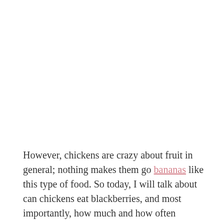However, chickens are crazy about fruit in general; nothing makes them go bananas like this type of food. So today, I will talk about can chickens eat blackberries, and most importantly, how much and how often
x